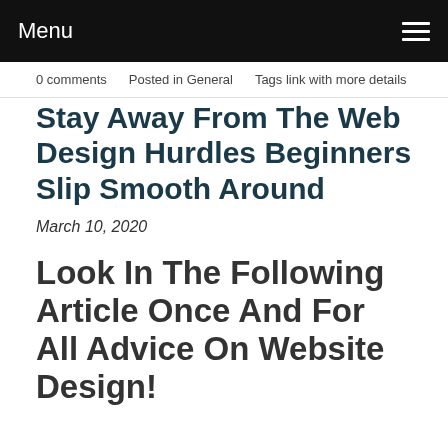Menu
0 comments   Posted in General   Tags link with more details
Stay Away From The Web Design Hurdles Beginners Slip Smooth Around
March 10, 2020
Look In The Following Article Once And For All Advice On Website Design!